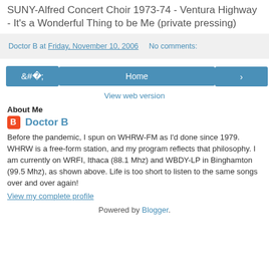SUNY-Alfred Concert Choir 1973-74 - Ventura Highway - It's a Wonderful Thing to be Me (private pressing)
Doctor B at Friday, November 10, 2006   No comments:
‹  Home  ›
View web version
About Me
Doctor B
Before the pandemic, I spun on WHRW-FM as I'd done since 1979. WHRW is a free-form station, and my program reflects that philosophy. I am currently on WRFI, Ithaca (88.1 Mhz) and WBDY-LP in Binghamton (99.5 Mhz), as shown above. Life is too short to listen to the same songs over and over again!
View my complete profile
Powered by Blogger.